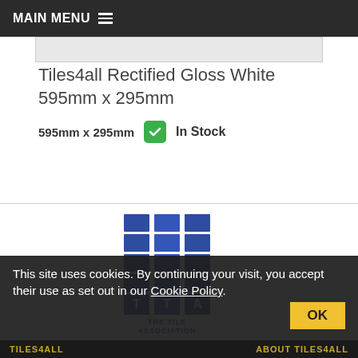MAIN MENU
Tiles4all Rectified Gloss White 595mm x 295mm
595mm x 295mm  ✓ In Stock
[Figure (logo): The Tile Association (TTA) logo — blue tile grid pattern above text reading 'T T A' and 'THE TILE ASSOCIATION']
This site uses cookies. By continuing your visit, you accept their use as set out in our Cookie Policy.
TILES4ALL    ABOUT TILES4ALL